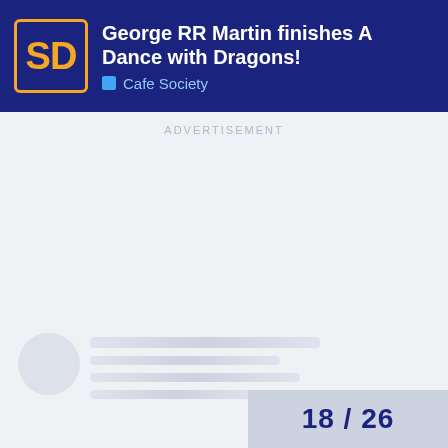George RR Martin finishes A Dance with Dragons! | Cafe Society
ADVERTISEMENT
[Figure (screenshot): Forum/community page with blurred/redacted user posts and sidebar. Shows avatar circles on left and content blocks on right. Pagination badge showing 18/26 in bottom right.]
18 / 26